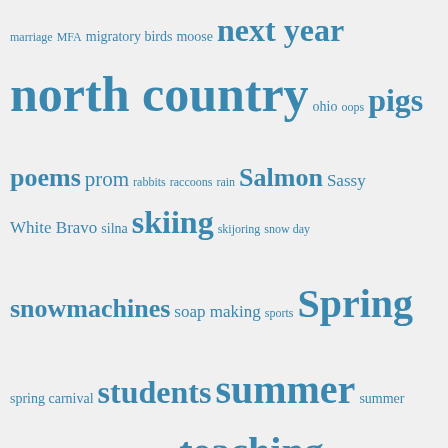[Figure (infographic): A tag cloud with words of varying sizes in blue color on a light gray background. Words include: marriage, MFA, migratory birds, moose, next year, north country, ohio, oops, pigs, poems, prom, rabbits, raccoons, rain, Salmon, Sassy White Bravo, silna, skiing, skijoring, snow day, snowmachines, soap making, sports, Spring, spring carnival, students, summer, summer school, swimming, Tanana, teaching, teaching in alaska, TFA, treehouse, VEE, why we were late to inservice, winter, wolves, yukon, yurt, yurt build]